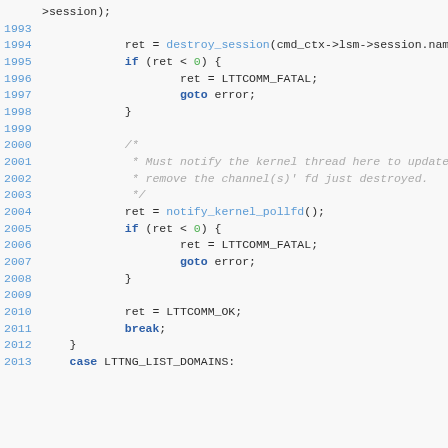Source code listing, lines 1993-2013, showing session destroy and kernel poll notification logic in C